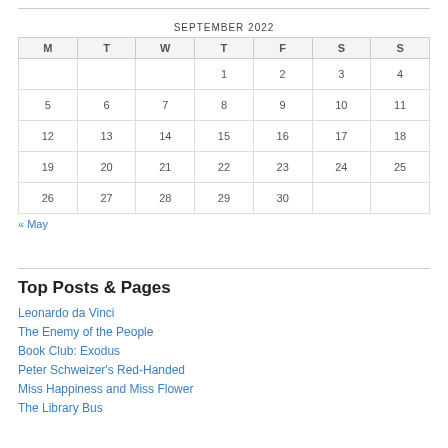| M | T | W | T | F | S | S |
| --- | --- | --- | --- | --- | --- | --- |
|  |  |  | 1 | 2 | 3 | 4 |
| 5 | 6 | 7 | 8 | 9 | 10 | 11 |
| 12 | 13 | 14 | 15 | 16 | 17 | 18 |
| 19 | 20 | 21 | 22 | 23 | 24 | 25 |
| 26 | 27 | 28 | 29 | 30 |  |  |
« May
Top Posts & Pages
Leonardo da Vinci
The Enemy of the People
Book Club: Exodus
Peter Schweizer's Red-Handed
Miss Happiness and Miss Flower
The Library Bus